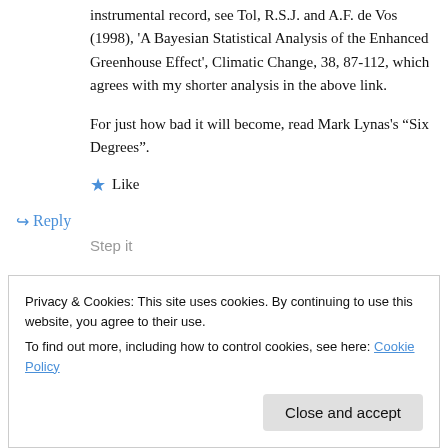instrumental record, see Tol, R.S.J. and A.F. de Vos (1998), 'A Bayesian Statistical Analysis of the Enhanced Greenhouse Effect', Climatic Change, 38, 87-112, which agrees with my shorter analysis in the above link.
For just how bad it will become, read Mark Lynas's “Six Degrees”.
★ Like
↪ Reply
Privacy & Cookies: This site uses cookies. By continuing to use this website, you agree to their use.
To find out more, including how to control cookies, see here: Cookie Policy
Close and accept
Step it